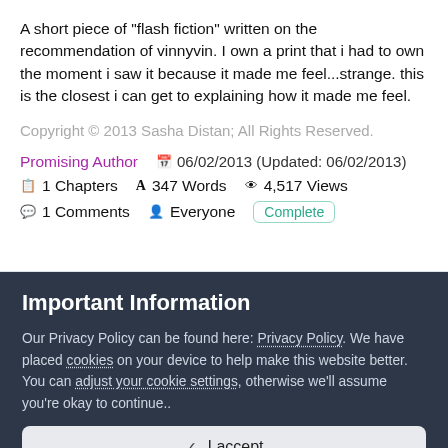A short piece of "flash fiction" written on the recommendation of vinnyvin. I own a print that i had to own the moment i saw it because it made me feel...strange. this is the closest i can get to explaining how it made me feel.
Copyright © 2013 Sasha Distan; All Rights Reserved.
Promising Author   📅 06/02/2013 (Updated: 06/02/2013)
1 Chapters   347 Words   4,517 Views
1 Comments   Everyone   Complete
STORY RECOMMENDATIONS
Important Information
Our Privacy Policy can be found here: Privacy Policy. We have placed cookies on your device to help make this website better. You can adjust your cookie settings, otherwise we'll assume you're okay to continue..
✓  I accept